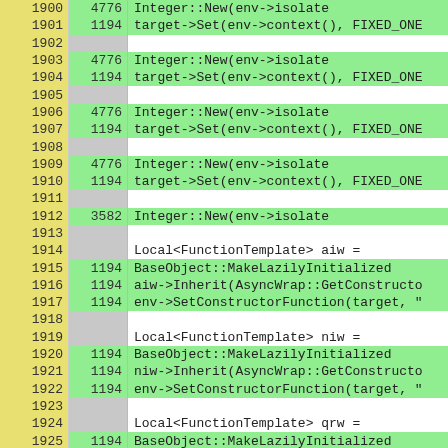| line | count | code |
| --- | --- | --- |
| 1900 | 4776 | Integer::New(env->isolate |
| 1901 | 1194 | target->Set(env->context(), FIXED_ONE |
| 1902 |  |  |
| 1903 | 4776 | Integer::New(env->isolate |
| 1904 | 1194 | target->Set(env->context(), FIXED_ONE |
| 1905 |  |  |
| 1906 | 4776 | Integer::New(env->isolate |
| 1907 | 1194 | target->Set(env->context(), FIXED_ONE |
| 1908 |  |  |
| 1909 | 4776 | Integer::New(env->isolate |
| 1910 | 1194 | target->Set(env->context(), FIXED_ONE |
| 1911 |  |  |
| 1912 | 3582 | Integer::New(env->isolate |
| 1913 |  |  |
| 1914 |  | Local<FunctionTemplate> aiw = |
| 1915 | 1194 | BaseObject::MakeLazilyInitialized |
| 1916 | 1194 | aiw->Inherit(AsyncWrap::GetConstructo |
| 1917 | 1194 | env->SetConstructorFunction(target, " |
| 1918 |  |  |
| 1919 |  | Local<FunctionTemplate> niw = |
| 1920 | 1194 | BaseObject::MakeLazilyInitialized |
| 1921 | 1194 | niw->Inherit(AsyncWrap::GetConstructo |
| 1922 | 1194 | env->SetConstructorFunction(target, " |
| 1923 |  |  |
| 1924 |  | Local<FunctionTemplate> qrw = |
| 1925 | 1194 | BaseObject::MakeLazilyInitialized |
| 1926 | 1194 | qrw->Inherit(AsyncWrap::GetConstruct |